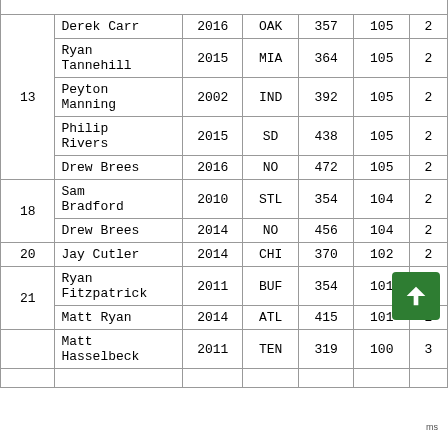| Rank | Player | Year | Team | Att | TD |  |
| --- | --- | --- | --- | --- | --- | --- |
|  | Derek Carr | 2016 | OAK | 357 | 105 | 2 |
|  | Ryan Tannehill | 2015 | MIA | 364 | 105 | 2 |
| 13 | Peyton Manning | 2002 | IND | 392 | 105 | 2 |
|  | Philip Rivers | 2015 | SD | 438 | 105 | 2 |
|  | Drew Brees | 2016 | NO | 472 | 105 | 2 |
| 18 | Sam Bradford | 2010 | STL | 354 | 104 | 2 |
|  | Drew Brees | 2014 | NO | 456 | 104 | 2 |
| 20 | Jay Cutler | 2014 | CHI | 370 | 102 | 2 |
| 21 | Ryan Fitzpatrick | 2011 | BUF | 354 | 101 | 2 |
|  | Matt Ryan | 2014 | ATL | 415 | 101 | 2 |
|  | Matt Hasselbeck | 2011 | TEN | 319 | 100 | 3 |
|  |  |  |  |  |  |  |